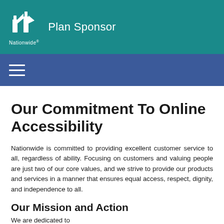Nationwide Plan Sponsor
Our Commitment To Online Accessibility
Nationwide is committed to providing excellent customer service to all, regardless of ability. Focusing on customers and valuing people are just two of our core values, and we strive to provide our products and services in a manner that ensures equal access, respect, dignity, and independence to all.
Our Mission and Action
We are dedicated to...